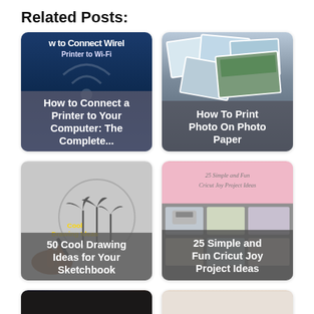Related Posts:
[Figure (photo): Card: How to Connect a Printer to Your Computer: The Complete...]
[Figure (photo): Card: How To Print Photo On Photo Paper]
[Figure (photo): Card: 50 Cool Drawing Ideas for Your Sketchbook]
[Figure (photo): Card: 25 Simple and Fun Cricut Joy Project Ideas]
[Figure (photo): Card: Fabric/printing related post (partial, text not visible)]
[Figure (photo): Card: How to Buy a... (partial)]